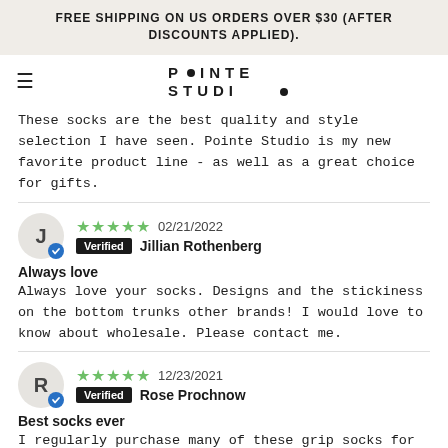FREE SHIPPING ON US ORDERS OVER $30 (AFTER DISCOUNTS APPLIED).
[Figure (logo): Pointe Studio logo with dots]
These socks are the best quality and style selection I have seen. Pointe Studio is my new favorite product line - as well as a great choice for gifts.
★★★★★  02/21/2022  Verified  Jillian Rothenberg
Always love
Always love your socks. Designs and the stickiness on the bottom trunks other brands! I would love to know about wholesale. Please contact me.
★★★★★  12/23/2021  Verified  Rose Prochnow
Best socks ever
I regularly purchase many of these grip socks for many reasons. First the colors are always fun and the grip is exceptional and with hardwood floors it is necessary to avoid slipping!